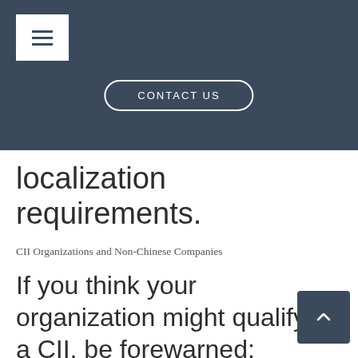CONTACT US
localization requirements.
CII Organizations and Non-Chinese Companies
If you think your organization might qualify as a CII, be forewarned: China’s cybersecurity approach will look for data localization within the CIIs first. CII